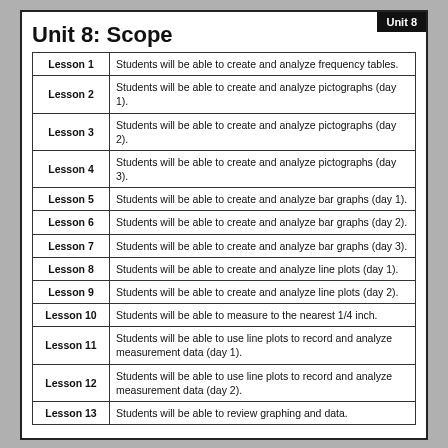Unit 8: Scope
| Lesson | Objective |
| --- | --- |
| Lesson 1 | Students will be able to create and analyze frequency tables. |
| Lesson 2 | Students will be able to create and analyze pictographs (day 1). |
| Lesson 3 | Students will be able to create and analyze pictographs (day 2). |
| Lesson 4 | Students will be able to create and analyze pictographs (day 3). |
| Lesson 5 | Students will be able to create and analyze bar graphs (day 1). |
| Lesson 6 | Students will be able to create and analyze bar graphs (day 2). |
| Lesson 7 | Students will be able to create and analyze bar graphs (day 3). |
| Lesson 8 | Students will be able to create and analyze line plots (day 1). |
| Lesson 9 | Students will be able to create and analyze line plots (day 2). |
| Lesson 10 | Students will be able to measure to the nearest 1/4 inch. |
| Lesson 11 | Students will be able to use line plots to record and analyze measurement data (day 1). |
| Lesson 12 | Students will be able to use line plots to record and analyze measurement data (day 2). |
| Lesson 13 | Students will be able to review graphing and data. |